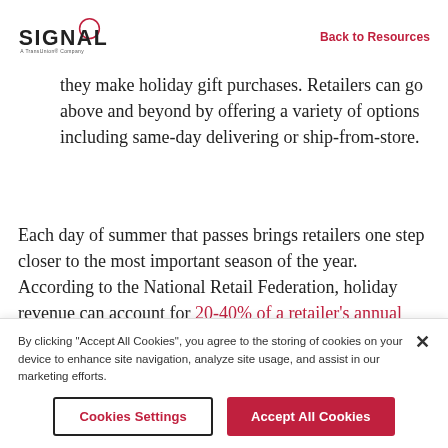Signal – A TransUnion Company | Back to Resources
they make holiday gift purchases. Retailers can go above and beyond by offering a variety of options including same-day delivering or ship-from-store.
Each day of summer that passes brings retailers one step closer to the most important season of the year. According to the National Retail Federation, holiday revenue can account for 20-40% of a retailer's annual sales. Beyond that, the holidays are a chance for retailers
By clicking "Accept All Cookies", you agree to the storing of cookies on your device to enhance site navigation, analyze site usage, and assist in our marketing efforts.
Cookies Settings | Accept All Cookies